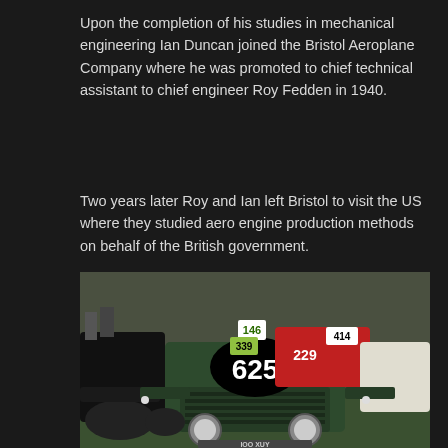Upon the completion of his studies in mechanical engineering Ian Duncan joined the Bristol Aeroplane Company where he was promoted to chief technical assistant to chief engineer Roy Fedden in 1940.
Two years later Roy and Ian left Bristol to visit the US where they studied aero engine production methods on behalf of the British government.
[Figure (photo): A dark green vintage racing car with number 625 on its bonnet, photographed head-on at a car show. Behind it are other vintage cars including a red one with numbers 146 and 339 visible, and a white car with number 414. The front of the green car shows a registration plate partially reading 'IOO XUY'.]